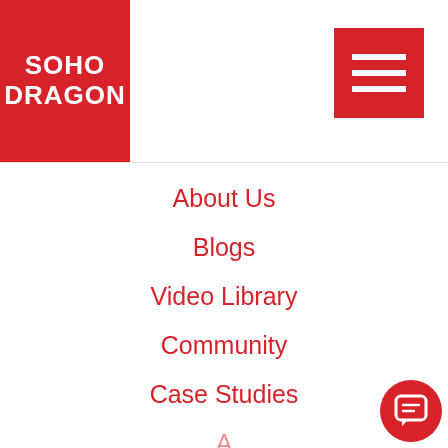[Figure (logo): SoHo Dragon logo: white text on red background square reading SOHO DRAGON]
[Figure (screenshot): Hamburger menu icon: three white horizontal lines on red background square, top right of header]
About Us
Blogs
Video Library
Community
Case Studies
[Figure (photo): Chat avatar: circular photo of a person]
Welcome to SoHo Dragon! How can I help you?
US Direct Hire
US Staff Augmentation
India Direct Hire